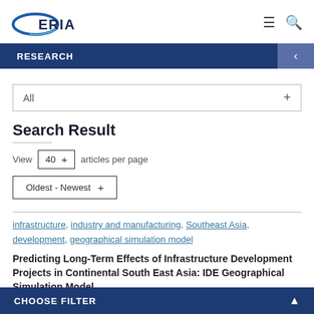[Figure (logo): ERIA logo with blue oval swoosh and bold 'ERIA' text]
RESEARCH
All +
Search Result
View  40 +  articles per page
Oldest - Newest +
infrastructure, industry and manufacturing, Southeast Asia, development, geographical simulation model
Predicting Long-Term Effects of Infrastructure Development Projects in Continental South East Asia: IDE Geographical Simulation Model
CHOOSE FILTER